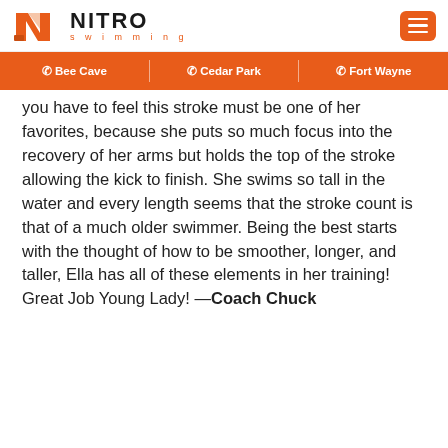NITRO swimming | Bee Cave | Cedar Park | Fort Wayne
you have to feel this stroke must be one of her favorites, because she puts so much focus into the recovery of her arms but holds the top of the stroke allowing the kick to finish. She swims so tall in the water and every length seems that the stroke count is that of a much older swimmer. Being the best starts with the thought of how to be smoother, longer, and taller, Ella has all of these elements in her training! Great Job Young Lady! —Coach Chuck